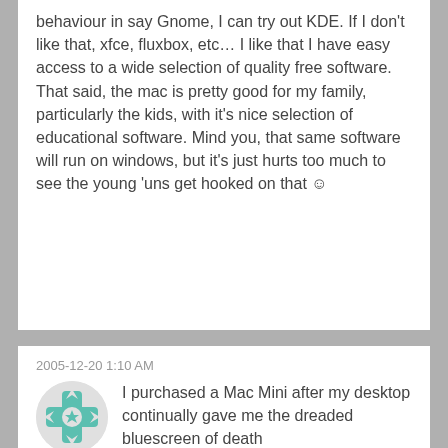behaviour in say Gnome, I can try out KDE. If I don't like that, xfce, fluxbox, etc… I like that I have easy access to a wide selection of quality free software. That said, the mac is pretty good for my family, particularly the kids, with it's nice selection of educational software. Mind you, that same software will run on windows, but it's just hurts too much to see the young 'uns get hooked on that ☺
2005-12-20 1:10 AM
[Figure (illustration): Teal/green decorative avatar icon with geometric star and cross pattern on a light gray circular background]
I purchased a Mac Mini after my desktop continually gave me the dreaded bluescreen of death